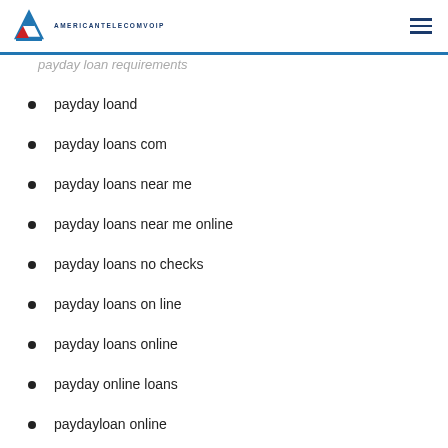AMERICANTELECOMVOIP
payday loan requirements
payday loand
payday loans com
payday loans near me
payday loans near me online
payday loans no checks
payday loans on line
payday loans online
payday online loans
paydayloan online
paydayloan4less.com payday loans online same day deposit
paydayloanadvance.net best online payday loans